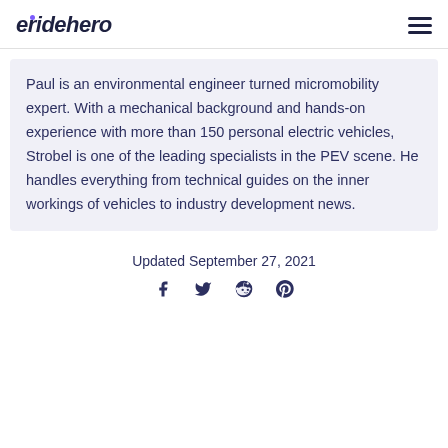eridehero
Paul is an environmental engineer turned micromobility expert. With a mechanical background and hands-on experience with more than 150 personal electric vehicles, Strobel is one of the leading specialists in the PEV scene. He handles everything from technical guides on the inner workings of vehicles to industry development news.
Updated September 27, 2021